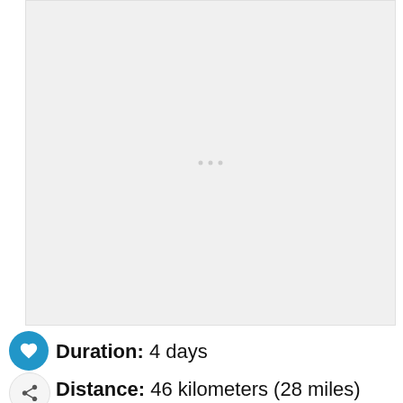[Figure (map): A map area showing a route or geographic region, mostly white/light gray with faint loading indicators in the center]
Duration: 4 days
Distance: 46 kilometers (28 miles)